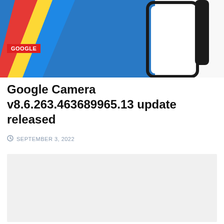[Figure (photo): Hero image showing colorful Google-branded phone render with blue, red, yellow diagonal stripes on left and a dark-framed smartphone on the right against a blue background]
Google Camera v8.6.263.463689965.13 update released
SEPTEMBER 3, 2022
[Figure (other): Light gray placeholder content box]